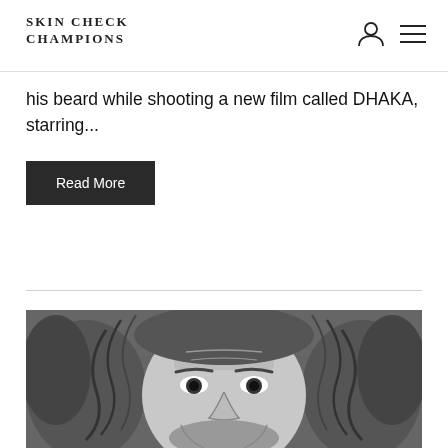SKIN CHECK CHAMPIONS
his beard while shooting a new film called DHAKA, starring...
Read More
[Figure (photo): Black and white close-up portrait of a man with curly hair and a beard, looking directly at the camera, surrounded by foliage or grass-like material.]